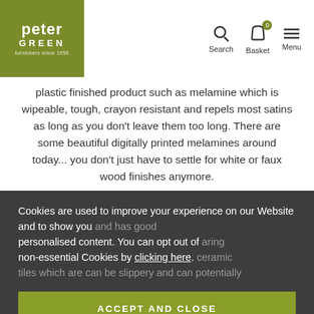[Figure (logo): Peter Green logo on olive/khaki green background with white text]
Search | Basket (0) | Menu
plastic finished product such as melamine which is wipeable, tough, crayon resistant and repels most satins as long as you don't leave them too long. There are some beautiful digitally printed melamines around today... you don't just have to settle for white or faux wood finishes anymore.
Cookies are used to improve your experience on our Website and to show you personalised content. You can opt out of non-essential Cookies by clicking here.
ACCEPT AND CLOSE
Wet messes and muddy foot prints are more easily cleaned from hard flooring than...